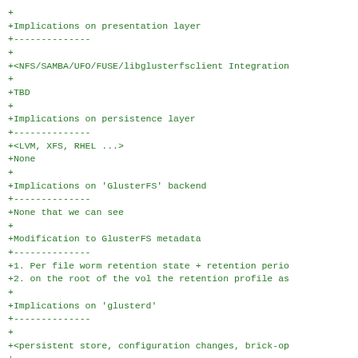+
+Implications on presentation layer
+-------------
+
+<NFS/SAMBA/UFO/FUSE/libglusterfsclient Integration
+
+TBD
+
+Implications on persistence layer
+-------------
+<LVM, XFS, RHEL ...>
+None
+
+Implications on 'GlusterFS' backend
+-------------
+None that we can see
+
+Modification to GlusterFS metadata
+-------------
+1. Per file worm retention state + retention perio
+2. on the root of the vol the retention profile as
+
+Implications on 'glusterd'
+-------------
+
+<persistent store, configuration changes, brick-op
+
+1. Few vol set commands for setting retention prof
+
+How To Test